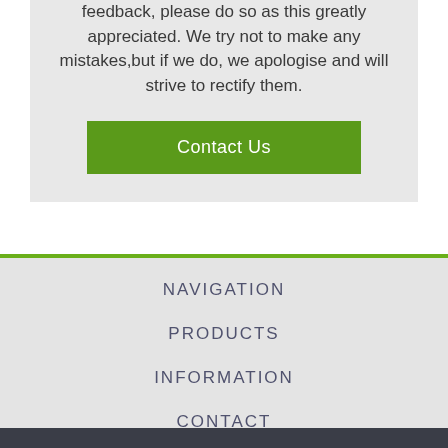feedback, please do so as this greatly appreciated. We try not to make any mistakes,but if we do, we apologise and will strive to rectify them.
Contact Us
NAVIGATION
PRODUCTS
INFORMATION
CONTACT